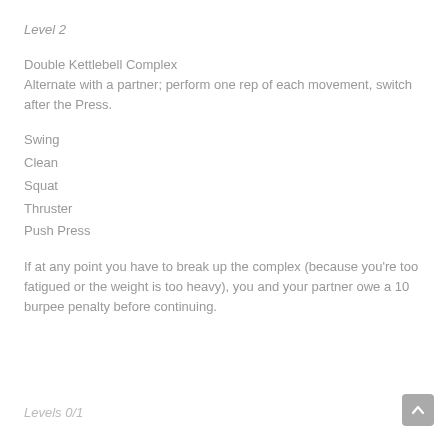Level 2
Double Kettlebell Complex
Alternate with a partner; perform one rep of each movement, switch after the Press.
Swing
Clean
Squat
Thruster
Push Press
If at any point you have to break up the complex (because you're too fatigued or the weight is too heavy), you and your partner owe a 10 burpee penalty before continuing.
Levels 0/1